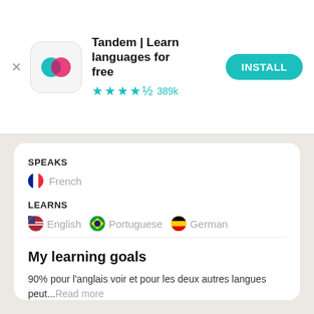[Figure (screenshot): Tandem app advertisement banner with app icon, name, star rating, and install button]
Tandem | Learn languages for free
★★★★½ 389k
SPEAKS
🇫🇷 French
LEARNS
🇺🇸 English   🇧🇷 Portuguese   🇩🇪 German
My learning goals
90% pour l'anglais voir et pour les deux autres langues peut...Read more
Get the app